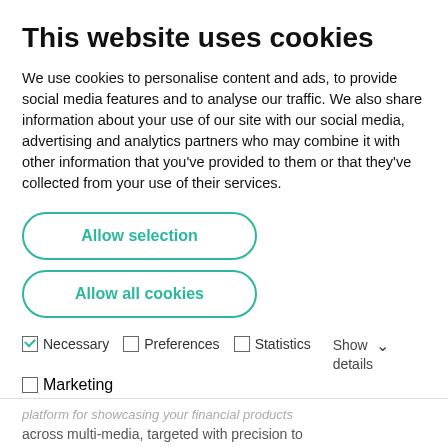This website uses cookies
We use cookies to personalise content and ads, to provide social media features and to analyse our traffic. We also share information about your use of our site with our social media, advertising and analytics partners who may combine it with other information that you've provided to them or that they've collected from your use of their services.
Allow selection
Allow all cookies
☑ Necessary  ☐ Preferences  ☐ Statistics  ☐ Marketing  Show details ∨
platform for showcasing your financial products across multi-media, targeted with precision to